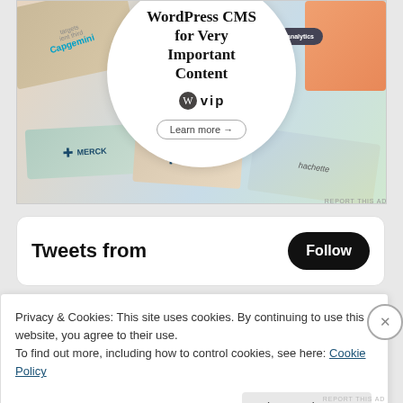[Figure (screenshot): WordPress VIP advertisement banner showing a decorative mosaic of brand cards (Capgemini, Merck, Hachette) with a white circle overlay containing the text 'WordPress CMS for Very Important Content' with WordPress VIP logo and 'Learn more' button]
REPORT THIS AD
Tweets from
Follow
Privacy & Cookies: This site uses cookies. By continuing to use this website, you agree to their use.
To find out more, including how to control cookies, see here: Cookie Policy
Close and accept
REPORT THIS AD